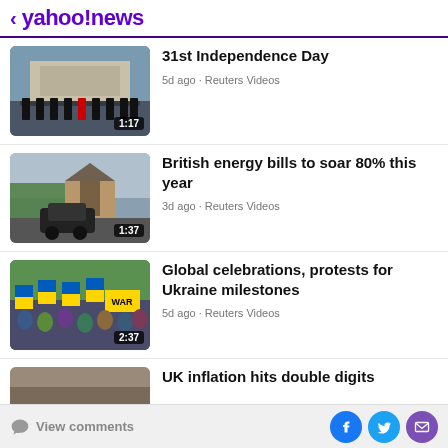< yahoo!news
[Figure (screenshot): Video thumbnail of royal guards marching in front of a large building, with duration badge '1:17']
31st Independence Day
5d ago · Reuters Videos
[Figure (screenshot): Video thumbnail of cars on a suburban street, with duration badge '1:37']
British energy bills to soar 80% this year
3d ago · Reuters Videos
[Figure (screenshot): Video thumbnail of a large crowd waving Ukrainian flags at a protest, with duration badge '2:37']
Global celebrations, protests for Ukraine milestones
5d ago · Reuters Videos
[Figure (screenshot): Partial video thumbnail, partially visible at bottom of screen]
UK inflation hits double digits
View comments  [Facebook] [Twitter] [Mail]